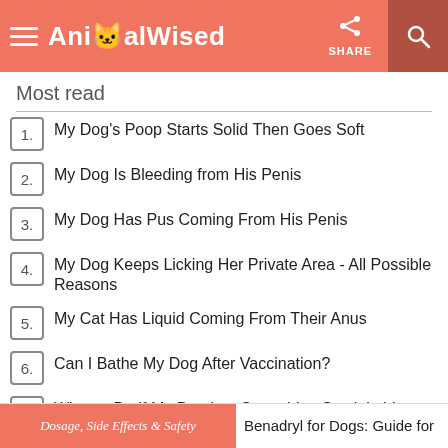AnimalWised | SHARE
Most read
1. My Dog's Poop Starts Solid Then Goes Soft
2. My Dog Is Bleeding from His Penis
3. My Dog Has Pus Coming From His Penis
4. My Dog Keeps Licking Her Private Area - All Possible Reasons
5. My Cat Has Liquid Coming From Their Anus
6. Can I Bathe My Dog After Vaccination?
7. What to Do if My Dog has Something Stuck in his Throat?
8. Why Does My Cat Push Out His Penis and Lick It?
Dosage, Side Effects & Safety | Benadryl for Dogs: Guide for